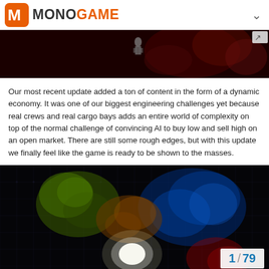MONOGAME
[Figure (screenshot): Dark red-toned game screenshot showing space/sci-fi environment with a robot figure and red textured elements]
Our most recent update added a ton of content in the form of a dynamic economy. It was one of our biggest engineering challenges yet because real crews and real cargo bays adds an entire world of complexity on top of the normal challenge of convincing AI to buy low and sell high on an open market. There are still some rough edges, but with this update we finally feel like the game is ready to be shown to the masses.
[Figure (screenshot): Space game screenshot showing colorful nebula clouds (green, blue, orange) on a black grid background with a bright white central light source and red elements, with page counter '1 / 79' overlay in bottom right]